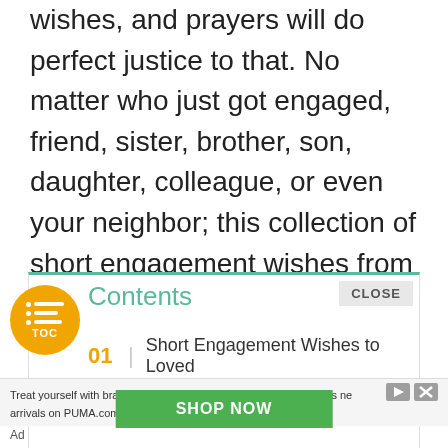wishes, and prayers will do perfect justice to that. No matter who just got engaged, friend, sister, brother, son, daughter, colleague, or even your neighbor; this collection of short engagement wishes from parent or friends will help you come up with the best wishes and congratulatory messages suitable for them.
Contents
01 | Short Engagement Wishes to Loved
Treat yourself with brand new gear from PUMA. Shop this season's new arrivals on PUMA.com
SHOP NOW
Ad